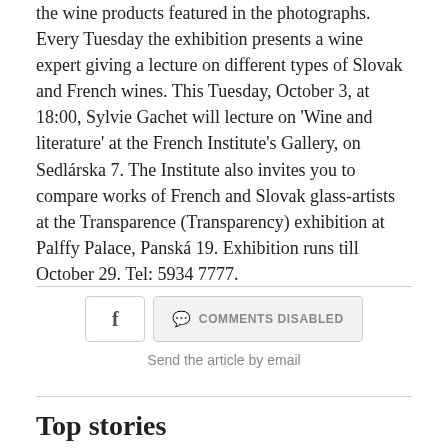the wine products featured in the photographs. Every Tuesday the exhibition presents a wine expert giving a lecture on different types of Slovak and French wines. This Tuesday, October 3, at 18:00, Sylvie Gachet will lecture on 'Wine and literature' at the French Institute's Gallery, on Sedlárska 7. The Institute also invites you to compare works of French and Slovak glass-artists at the Transparence (Transparency) exhibition at Palffy Palace, Panská 19. Exhibition runs till October 29. Tel: 5934 7777.
[Figure (other): Facebook share button and Comments Disabled button row]
Send the article by email
Top stories